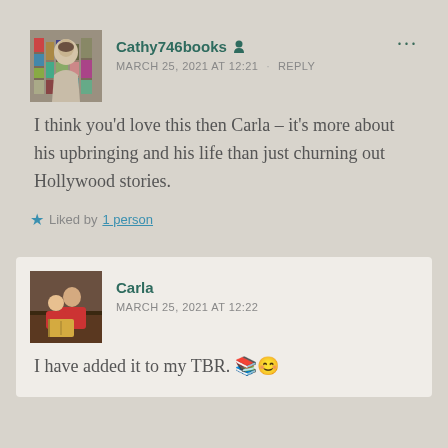Cathy746books
MARCH 25, 2021 AT 12:21 · REPLY
I think you'd love this then Carla – it's more about his upbringing and his life than just churning out Hollywood stories.
Liked by 1 person
Carla
MARCH 25, 2021 AT 12:22
I have added it to my TBR. 📚😊